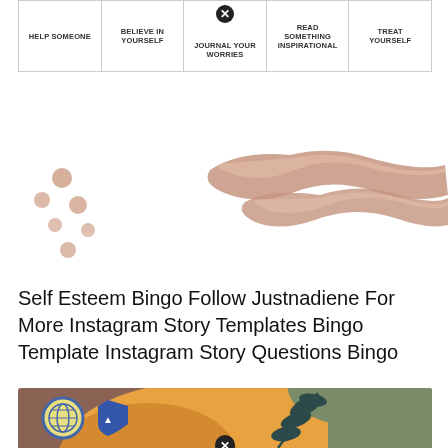| HELP SOMEONE | BELIEVE IN YOURSELF | JOURNAL YOUR WORRIES | READ SOMETHING INSPIRATIONAL | TREAT YOURSELF |
| --- | --- | --- | --- | --- |
| HELP SOMEONE | BELIEVE IN YOURSELF | JOURNAL YOUR WORRIES (marked) | READ SOMETHING INSPIRATIONAL | TREAT YOURSELF |
[Figure (illustration): Decorative illustration with earthy-toned brush strokes and scattered dots/circles in brownish-pink tones on a white background]
Self Esteem Bingo Follow Justnadiene For More Instagram Story Templates Bingo Template Instagram Story Questions Bingo
[Figure (illustration): Colorful illustration with earthy orange, green, brown tones, botanical leaf elements, two circular logo icons (one blue ring with globe, one blue shield/badge), and a close-up icon at bottom center]